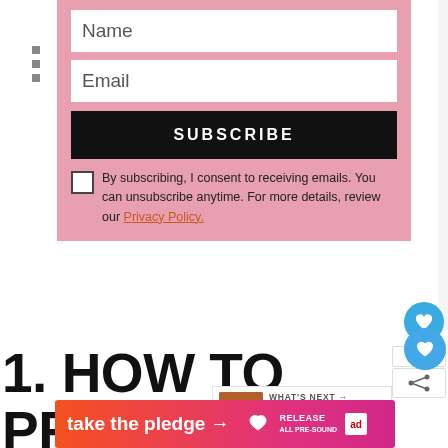[Figure (screenshot): Email subscription form with Name input, Email input, SUBSCRIBE button, and privacy consent checkbox with text. Pink background.]
By subscribing, I consent to receiving emails. You can unsubscribe anytime. For more details, review our Privacy Policy.
694
1. HOW TO PREPARE THE PERFECT PINK CHEESECAKE CRUST
[Figure (screenshot): WHAT'S NEXT panel showing No-bake Strawberry... with thumbnail image]
[Figure (infographic): Ad banner: take the pledge → RELEASE logo and ad logo]